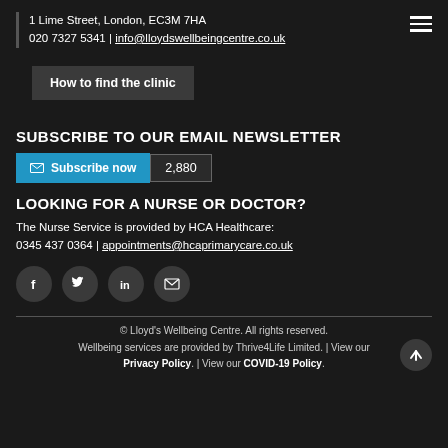1 Lime Street, London, EC3M 7HA | 020 7327 5341 | info@lloydswellbeingcentre.co.uk
How to find the clinic
SUBSCRIBE TO OUR EMAIL NEWSLETTER
Subscribe now  2,880
LOOKING FOR A NURSE OR DOCTOR?
The Nurse Service is provided by HCA Healthcare:
0345 437 0364 | appointments@hcaprimarycare.co.uk
[Figure (infographic): Social media icons: Facebook, Twitter, LinkedIn, Email]
© Lloyd's Wellbeing Centre. All rights reserved. Wellbeing services are provided by Thrive4Life Limited. | View our Privacy Policy. | View our COVID-19 Policy.